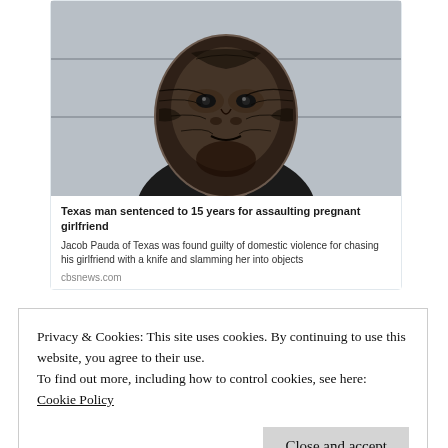[Figure (photo): Mugshot of a man with extensive facial tattoos (skull/dark pattern tattoos covering face and neck), wearing a dark shirt, against a light background.]
Texas man sentenced to 15 years for assaulting pregnant girlfriend
Jacob Pauda of Texas was found guilty of domestic violence for chasing his girlfriend with a knife and slamming her into objects
cbsnews.com
RETWEETS 5   LIKES 39
Domestic Violence, Phil Johnson, Grace Community Church, John MacArthur
Privacy & Cookies: This site uses cookies. By continuing to use this website, you agree to their use.
To find out more, including how to control cookies, see here:
Cookie Policy
Close and accept
man in his position would so carelessly